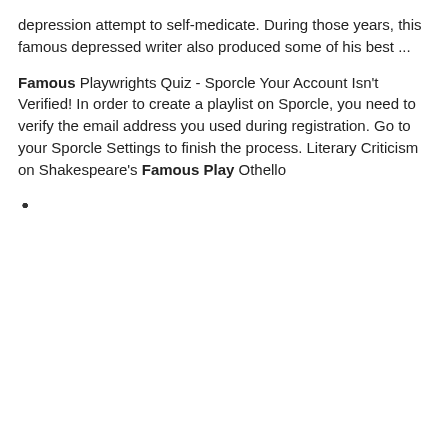depression attempt to self-medicate. During those years, this famous depressed writer also produced some of his best ...
Famous Playwrights Quiz - Sporcle Your Account Isn't Verified! In order to create a playlist on Sporcle, you need to verify the email address you used during registration. Go to your Sporcle Settings to finish the process. Literary Criticism on Shakespeare's Famous Play Othello